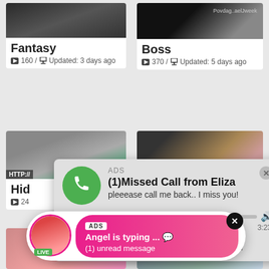[Figure (screenshot): Thumbnail image for Fantasy video card]
Fantasy
160 / Updated: 3 days ago
[Figure (screenshot): Thumbnail image for Boss video card]
Boss
370 / Updated: 5 days ago
[Figure (screenshot): Thumbnail for hidden video card with HTTP overlay]
Hid
24
[Figure (screenshot): Thumbnail for right second row video card with website watermark]
[Figure (infographic): Audio ad popup: (1)Missed Call from Eliza, pleeease call me back.. I miss you!, with audio player controls showing 0:00 to 3:23]
[Figure (infographic): Chat ad popup: Angel is typing... with (1) unread message, LIVE badge, pink gradient background, ADS label, close button]